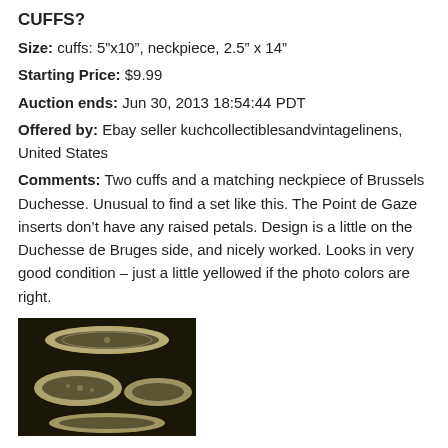CUFFS?
Size: cuffs: 5"x10", neckpiece, 2.5" x 14"
Starting Price: $9.99
Auction ends: Jun 30, 2013 18:54:44 PDT
Offered by: Ebay seller kuchcollectiblesandvintagelinens, United States
Comments: Two cuffs and a matching neckpiece of Brussels Duchesse. Unusual to find a set like this. The Point de Gaze inserts don't have any raised petals. Design is a little on the Duchesse de Bruges side, and nicely worked. Looks in very good condition – just a little yellowed if the photo colors are right.
[Figure (photo): Photo of two lace cuffs and a neckpiece on a dark background, showing Brussels Duchesse lace with Point de Gaze inserts.]